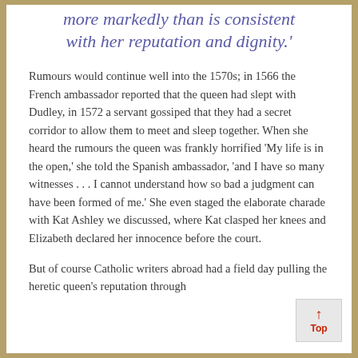more markedly than is consistent with her reputation and dignity.'
Rumours would continue well into the 1570s; in 1566 the French ambassador reported that the queen had slept with Dudley, in 1572 a servant gossiped that they had a secret corridor to allow them to meet and sleep together. When she heard the rumours the queen was frankly horrified 'My life is in the open,' she told the Spanish ambassador, 'and I have so many witnesses . . . I cannot understand how so bad a judgment can have been formed of me.' She even staged the elaborate charade with Kat Ashley we discussed, where Kat clasped her knees and Elizabeth declared her innocence before the court.
But of course Catholic writers abroad had a field day pulling the heretic queen's reputation through